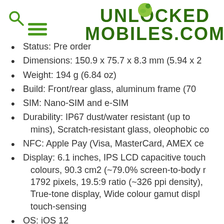[Figure (logo): UnlockedMobiles.com logo with search icon and hamburger menu on the left, and green bold text logo on the right with a green ball icon above the O in UNLOCKED]
Status: Pre order
Dimensions: 150.9 x 75.7 x 8.3 mm (5.94 x 2...
Weight: 194 g (6.84 oz)
Build: Front/rear glass, aluminum frame (70...
SIM: Nano-SIM and e-SIM
Durability: IP67 dust/water resistant (up to... mins), Scratch-resistant glass, oleophobic co...
NFC: Apple Pay (Visa, MasterCard, AMEX ce...
Display: 6.1 inches, IPS LCD capacitive touch colours, 90.3 cm2 (~79.0% screen-to-body r... 1792 pixels, 19.5:9 ratio (~326 ppi density), True-tone display, Wide colour gamut displ... touch-sensing
OS: iOS 12